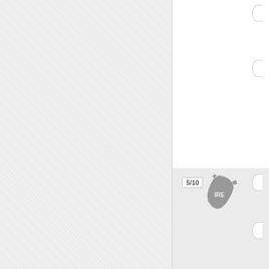[Figure (screenshot): UI card showing score 5/10 with Massachusetts state map icon, abbreviation MA, city Boston, and partial circle indicators on the right]
[Figure (screenshot): UI card showing score 5/10 with Ireland country map icon labeled IRE, and partial circle indicators on the right, with gray background]